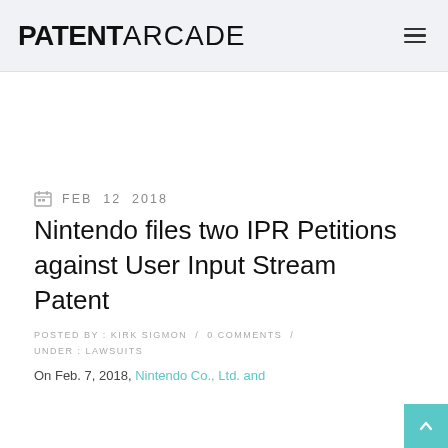PATENT ARCADE
FEB  12  2018
Nintendo files two IPR Petitions against User Input Stream Patent
POSTED BY : KIRK SIGMON  /  0 COMMENTS  /  UNDER : LAWSUITS
On Feb. 7, 2018, Nintendo Co., Ltd. and